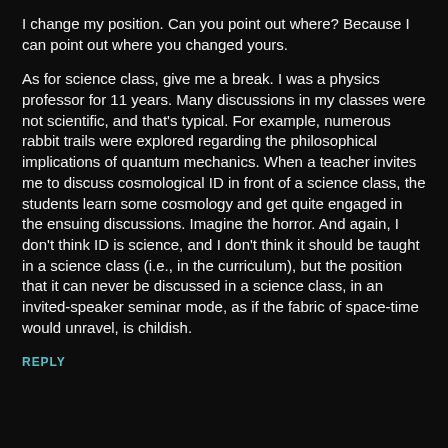I change my position. Can you point out where? Because I can point out where you changed yours.
As for science class, give me a break. I was a physics professor for 11 years. Many discussions in my classes were not scientific, and that's typical. For example, numerous rabbit trails were explored regarding the philosophical implications of quantum mechanics. When a teacher invites me to discuss cosmological ID in front of a science class, the students learn some cosmology and get quite engaged in the ensuing discussions. Imagine the horror. And again, I don't think ID is science, and I don't think it should be taught in a science class (i.e., in the curriculum), but the position that it can never be discussed in a science class, in an invited-speaker seminar mode, as if the fabric of space-time would unravel, is childish.
REPLY